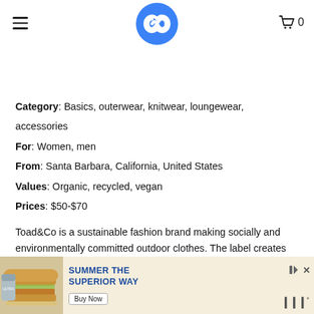Navigation header with logo, hamburger menu, and cart icon showing 0
Category: Basics, outerwear, knitwear, loungewear, accessories
For: Women, men
From: Santa Barbara, California, United States
Values: Organic, recycled, vegan
Prices: $50-$70
Toad&Co is a sustainable fashion brand making socially and environmentally committed outdoor clothes. The label creates affordable and eco-friendly skirts for women
[Figure (screenshot): Advertisement banner: Miller Ultra beer brand ad with text 'SUMMER THE SUPERIOR WAY' and a Buy Now button, with a burger image on the left side. WW logo visible on the right.]